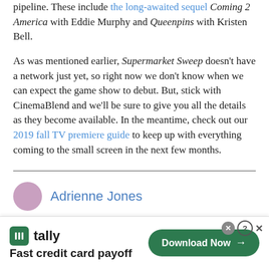pipeline. These include the long-awaited sequel Coming 2 America with Eddie Murphy and Queenpins with Kristen Bell.
As was mentioned earlier, Supermarket Sweep doesn't have a network just yet, so right now we don't know when we can expect the game show to debut. But, stick with CinemaBlend and we'll be sure to give you all the details as they become available. In the meantime, check out our 2019 fall TV premiere guide to keep up with everything coming to the small screen in the next few months.
Adrienne Jones
[Figure (other): Advertisement banner for Tally app — Fast credit card payoff. Shows Tally logo and a Download Now button.]